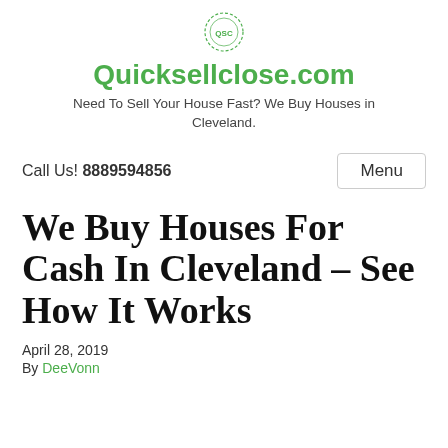[Figure (logo): Circular green decorative logo icon for Quicksellclose.com]
Quicksellclose.com
Need To Sell Your House Fast? We Buy Houses in Cleveland.
Call Us! 8889594856
Menu
We Buy Houses For Cash In Cleveland – See How It Works
April 28, 2019
By DeeVonn